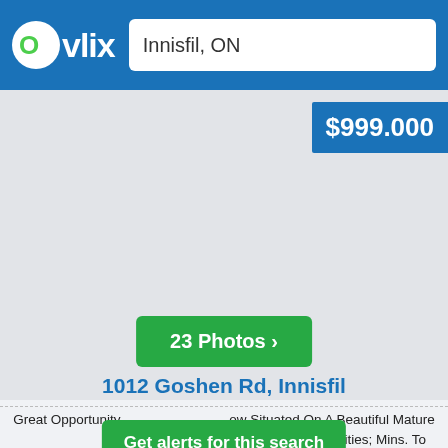Ovlix — Innisfil, ON
$999,000
[Figure (photo): Property photo placeholder / image gallery area showing a house listing]
23 Photos >
1012 Goshen Rd, Innisfil
Get alerts for this search
Great Opportunity ... ow Situated On A Beautiful Mature Lot 70X280 In The Heart Of Innisfil. Prime Location Close To All Amenities; Mins. To Innisfil Beach, Shopping, Schools;...